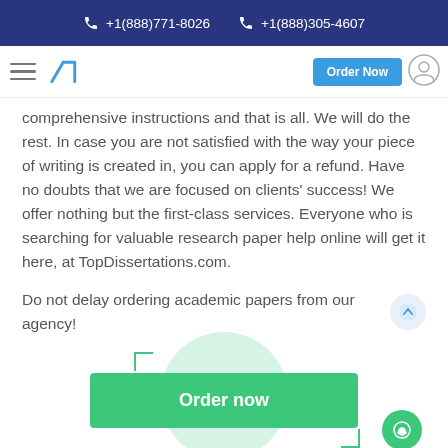+1(888)771-8026  +1(888)305-4607
[Figure (screenshot): Navigation bar with hamburger menu, TD logo, Order Now button, and user icon]
comprehensive instructions and that is all. We will do the rest. In case you are not satisfied with the way your piece of writing is created in, you can apply for a refund. Have no doubts that we are focused on clients' success! We offer nothing but the first-class services. Everyone who is searching for valuable research paper help online will get it here, at TopDissertations.com.
Do not delay ordering academic papers from our agency!
[Figure (illustration): Green Order now button with decorative corner brackets and circular background]